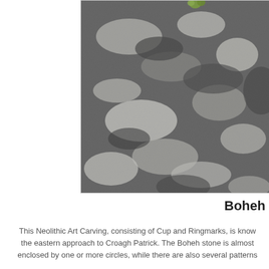[Figure (photo): Close-up photograph of a lichen-covered rock surface with grey and white mottled patterns. A small green plant or fern is visible at the top edge. The rock surface shows texture typical of Neolithic carved stones.]
Boheh
This Neolithic Art Carving, consisting of Cup and Ringmarks, is know the eastern approach to Croagh Patrick. The Boheh stone is almost enclosed by one or more circles, while there are also several patterns